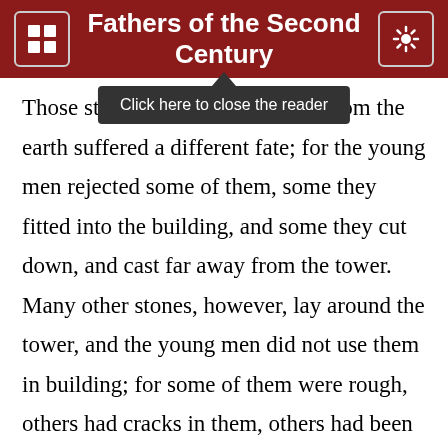Fathers of the Second Century
Click here to close the reader
Those stones taken from the earth suffered a different fate; for the young men rejected some of them, some they fitted into the building, and some they cut down, and cast far away from the tower. Many other stones, however, lay around the tower, and the young men did not use them in building; for some of them were rough, others had cracks in them, others had been made too short,88 and others were white and round, but did not fit into the building of the tower. Moreover, I saw other stones thrown far away from the tower, and falling into the public road; yet they did not remain on the road, but were rolled into a pathless